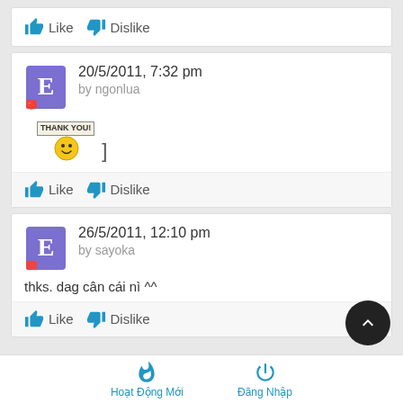Like   Dislike
20/5/2011, 7:32 pm by ngonlua
[Figure (illustration): Thank you emoji with smiley face and bracket symbol]
Like   Dislike
26/5/2011, 12:10 pm by sayoka
thks. dag cân cái nì ^^
Like   Dislike
Hoat Động Mới   Đāng Nhập